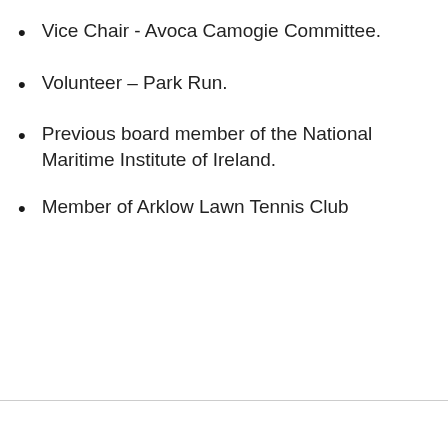Vice Chair - Avoca Camogie Committee.
Volunteer – Park Run.
Previous board member of the National Maritime Institute of Ireland.
Member of Arklow Lawn Tennis Club